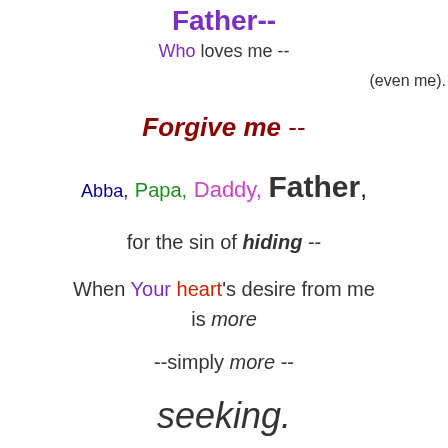Father--
Who loves me --
(even me).
Forgive me --
Abba, Papa, Daddy, Father,
for the sin of hiding --
When Your heart's desire from me is more
--simply more --
seeking.
Go to Blog Carnival